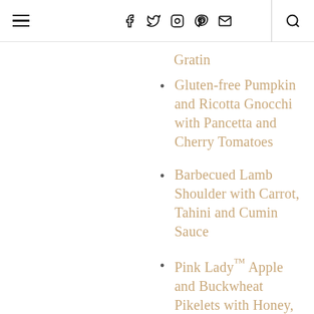Menu navigation with social icons
Gratin
Gluten-free Pumpkin and Ricotta Gnocchi with Pancetta and Cherry Tomatoes
Barbecued Lamb Shoulder with Carrot, Tahini and Cumin Sauce
Pink Lady™ Apple and Buckwheat Pikelets with Honey, Walnuts and Mascarpone